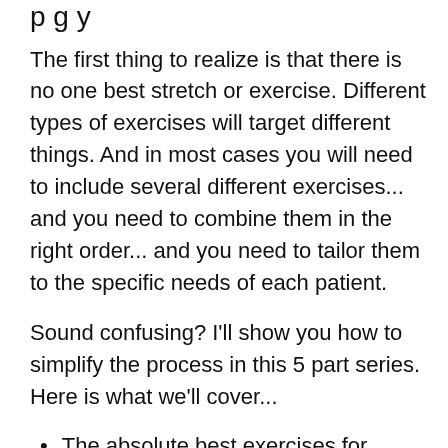p g y
The first thing to realize is that there is no one best stretch or exercise.  Different types of exercises will target different things. And in most cases you will need to include several different exercises... and you need to combine them in the right order... and you need to tailor them to the specific needs of each patient.
Sound confusing?  I'll show you how to simplify the process in this 5 part series. Here is what we'll cover...
The absolute best exercises for